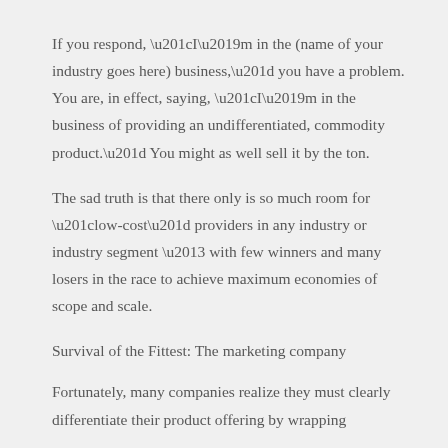If you respond, “I’m in the (name of your industry goes here) business,” you have a problem. You are, in effect, saying, “I’m in the business of providing an undifferentiated, commodity product.” You might as well sell it by the ton.
The sad truth is that there only is so much room for “low-cost” providers in any industry or industry segment – with few winners and many losers in the race to achieve maximum economies of scope and scale.
Survival of the Fittest: The marketing company
Fortunately, many companies realize they must clearly differentiate their product offering by wrapping